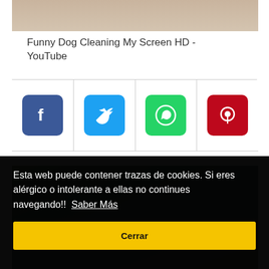[Figure (photo): Partial view of a dog photo at the top of the page, cropped]
Funny Dog Cleaning My Screen HD - YouTube
[Figure (infographic): Social sharing buttons: Facebook (blue), Twitter (cyan), WhatsApp (green), Pinterest (red)]
[Figure (photo): Partial background photograph of an outdoor scene]
Esta web puede contener trazas de cookies. Si eres alérgico o intolerante a ellas no continues navegando!!  Saber Más
Cerrar